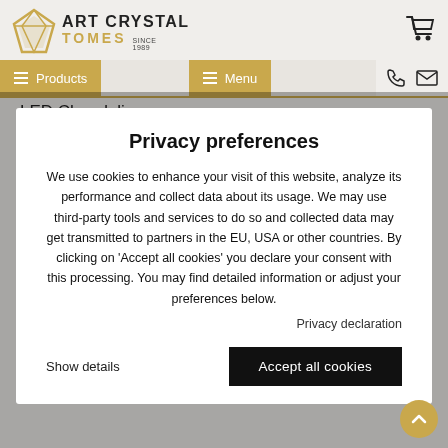[Figure (logo): Art Crystal Tomes logo with diamond shape and text 'ART CRYSTAL TOMES SINCE 1989']
Products  Menu
LED Chandeliers
Privacy preferences
We use cookies to enhance your visit of this website, analyze its performance and collect data about its usage. We may use third-party tools and services to do so and collected data may get transmitted to partners in the EU, USA or other countries. By clicking on 'Accept all cookies' you declare your consent with this processing. You may find detailed information or adjust your preferences below.
Privacy declaration
Show details
Accept all cookies